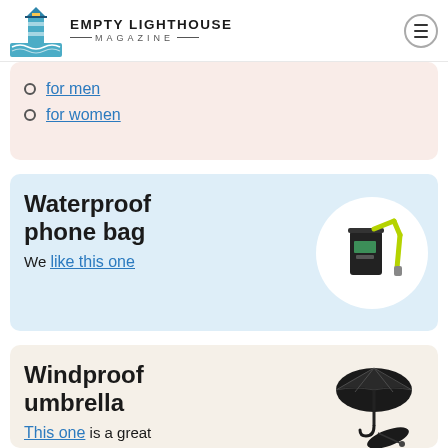EMPTY LIGHTHOUSE MAGAZINE
for men
for women
Waterproof phone bag
We like this one
[Figure (photo): Black waterproof phone bag with yellow-green lanyard strap]
Windproof umbrella
This one is a great
[Figure (photo): Black folded windproof travel umbrella]